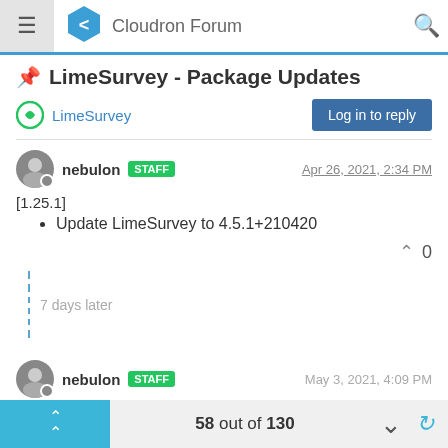Cloudron Forum
📌 LimeSurvey - Package Updates
LimeSurvey
Log in to reply
nebulon STAFF Apr 26, 2021, 2:34 PM
[1.25.1]
Update LimeSurvey to 4.5.1+210420
0
7 days later
nebulon STAFF May 3, 2021, 4:09 PM
58 out of 130